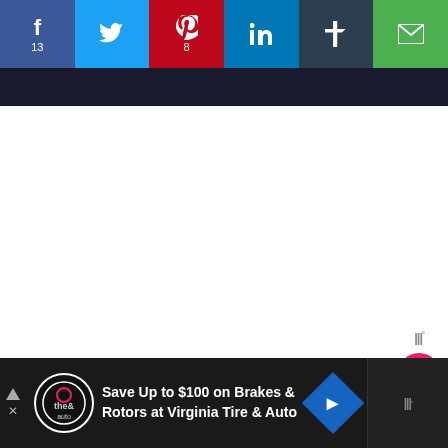[Figure (screenshot): Social media share bar with Facebook (13), Twitter, Pinterest (8), LinkedIn, Tumblr, and Email buttons]
[Figure (screenshot): Dark header strip below social bar]
[Figure (screenshot): White main content area]
[Figure (screenshot): Right sidebar with Wunderbucket logo, heart/like button, count 22, and share button]
[Figure (screenshot): Bottom advertisement bar: Save Up to $100 on Brakes & Rotors at Virginia Tire & Auto, with logo and navigation arrow, and Wunderbucket sidebar logo]